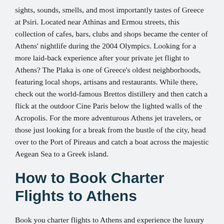sights, sounds, smells, and most importantly tastes of Greece at Psiri. Located near Athinas and Ermou streets, this collection of cafes, bars, clubs and shops became the center of Athens' nightlife during the 2004 Olympics. Looking for a more laid-back experience after your private jet flight to Athens? The Plaka is one of Greece's oldest neighborhoods, featuring local shops, artisans and restaurants. While there, check out the world-famous Brettos distillery and then catch a flick at the outdoor Cine Paris below the lighted walls of the Acropolis. For the more adventurous Athens jet travelers, or those just looking for a break from the bustle of the city, head over to the Port of Pireaus and catch a boat across the majestic Aegean Sea to a Greek island.
How to Book Charter Flights to Athens
Book you charter flights to Athens and experience the luxury and personal service that Stratos Jets provides. Our charter consultants are available 24 hours a day to arrange your next on-demand air charter service to Athens. Our consultants